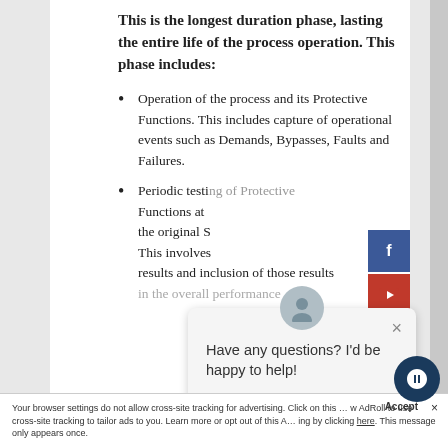This is the longest duration phase, lasting the entire life of the process operation. This phase includes:
Operation of the process and its Protective Functions. This includes capture of operational events such as Demands, Bypasses, Faults and Failures.
Periodic testing of Protective Functions at ... the original S... This involves ... results and inclusion of those results in the overall performance...